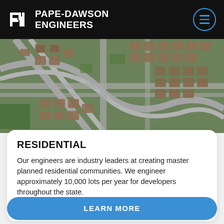PAPE-DAWSON ENGINEERS
[Figure (photo): Aerial view of a master planned residential community showing suburban homes, curved streets, and green lawns from above.]
RESIDENTIAL
Our engineers are industry leaders at creating master planned residential communities. We engineer approximately 10,000 lots per year for developers throughout the state.
LEARN MORE